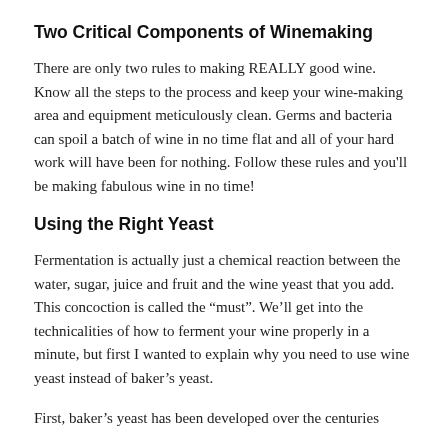Two Critical Components of Winemaking
There are only two rules to making REALLY good wine. Know all the steps to the process and keep your wine-making area and equipment meticulously clean. Germs and bacteria can spoil a batch of wine in no time flat and all of your hard work will have been for nothing. Follow these rules and you’ll be making fabulous wine in no time!
Using the Right Yeast
Fermentation is actually just a chemical reaction between the water, sugar, juice and fruit and the wine yeast that you add. This concoction is called the “must”. We’ll get into the technicalities of how to ferment your wine properly in a minute, but first I wanted to explain why you need to use wine yeast instead of baker’s yeast.
First, baker’s yeast has been developed over the centuries